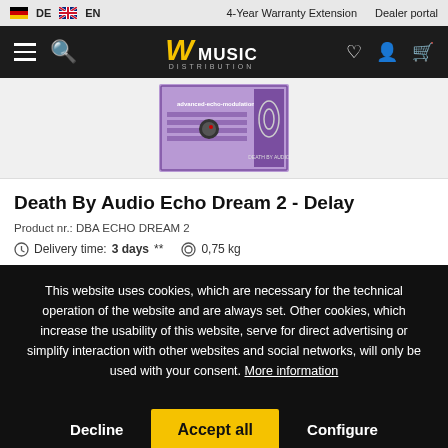DE  EN    4-Year Warranty Extension    Dealer portal
[Figure (logo): W Music Distribution logo on black navigation bar with hamburger menu, search icon, heart, user, and cart icons]
[Figure (photo): Death By Audio Echo Dream 2 Delay pedal product image on light grey background]
Death By Audio Echo Dream 2 - Delay
Product nr.: DBA ECHO DREAM 2
Delivery time: 3 days **   0,75 kg
This website uses cookies, which are necessary for the technical operation of the website and are always set. Other cookies, which increase the usability of this website, serve for direct advertising or simplify interaction with other websites and social networks, will only be used with your consent. More information
Decline   Accept all   Configure